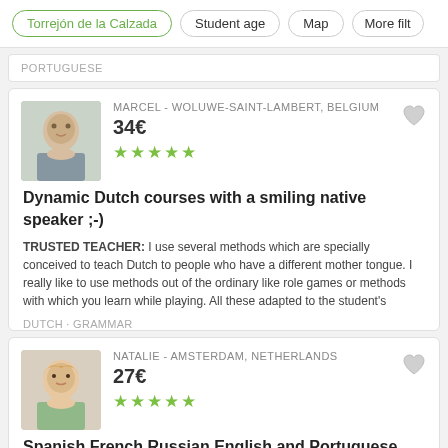Torrejón de la Calzada · Student age · Map · More filters
PORTUGUESE
MARCEL - WOLUWE-SAINT-LAMBERT, BELGIUM
34€
★★★★★
Dynamic Dutch courses with a smiling native speaker ;-)
TRUSTED TEACHER: I use several methods which are specially conceived to teach Dutch to people who have a different mother tongue. I really like to use methods out of the ordinary like role games or methods with which you learn while playing. All these adapted to the student's
DUTCH · GRAMMAR
NATALIE - AMSTERDAM, NETHERLANDS
27€
★★★★★
Spanish French Russian English and Portuguese